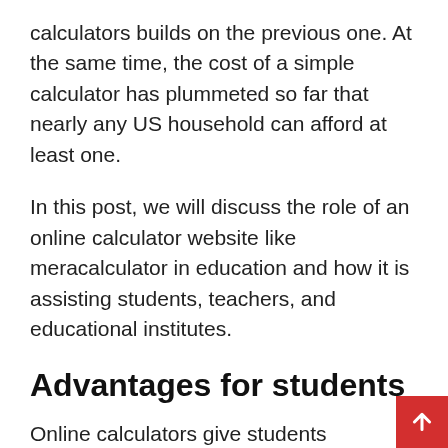calculators builds on the previous one. At the same time, the cost of a simple calculator has plummeted so far that nearly any US household can afford at least one.
In this post, we will discuss the role of an online calculator website like meracalculator in education and how it is assisting students, teachers, and educational institutes.
Advantages for students
Online calculators give students exposure to educational principles and interactions which have previously been restricted to paper and pencil only. The National Council of Mathematical Teachers